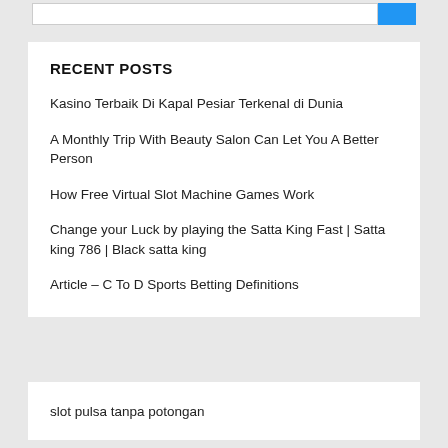RECENT POSTS
Kasino Terbaik Di Kapal Pesiar Terkenal di Dunia
A Monthly Trip With Beauty Salon Can Let You A Better Person
How Free Virtual Slot Machine Games Work
Change your Luck by playing the Satta King Fast | Satta king 786 | Black satta king
Article – C To D Sports Betting Definitions
slot pulsa tanpa potongan